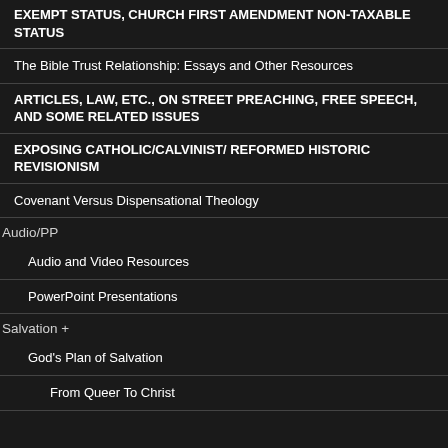THE CHURCH, CHURCH AND ITS FINANCES, CHURCH TAX-EXEMPT STATUS, CHURCH FIRST AMENDMENT NON-TAXABLE STATUS
The Bible Trust Relationship: Essays and Other Resources
ARTICLES, LAW, ETC., ON STREET PREACHING, FREE SPEECH, AND SOME RELATED ISSUES
EXPOSING CATHOLIC/CALVINIST/ REFORMED HISTORIC REVISIONISM
Covenant Versus Dispensational Theology
Audio/PP
Audio and Video Resources
PowerPoint Presentations
Salvation +
God's Plan of Salvation
From Queer To Christ